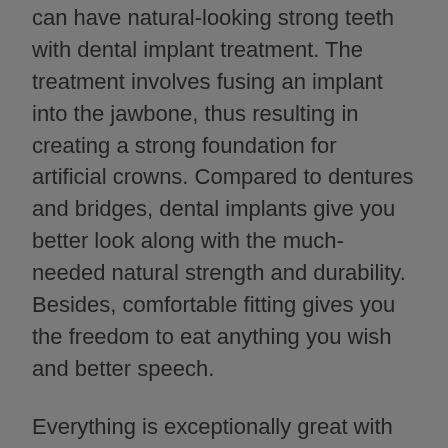can have natural-looking strong teeth with dental implant treatment. The treatment involves fusing an implant into the jawbone, thus resulting in creating a strong foundation for artificial crowns. Compared to dentures and bridges, dental implants give you better look along with the much-needed natural strength and durability. Besides, comfortable fitting gives you the freedom to eat anything you wish and better speech.
Everything is exceptionally great with dental implants, but the effectiveness depends on your commitment to follow aftercare tips shared by your dentist. Any carelessness could cause infection, thus extend the recovery period beyond the normal 2-3 weeks. The dental system is highly complex, and dental implant procedure involves surgical intervention, so follow aftercare guidelines strictly suggested by reputed clinics like Affinity Dentistry in the ACT.